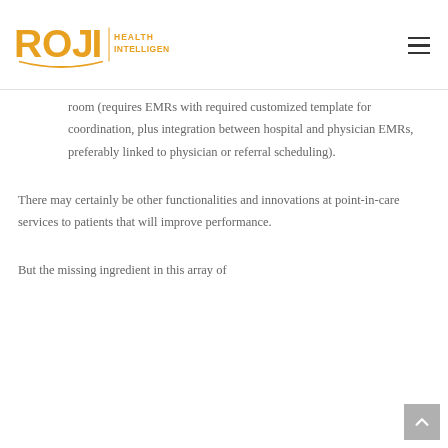ROJI HEALTH INTELLIGENCE
room (requires EMRs with required customized template for coordination, plus integration between hospital and physician EMRs, preferably linked to physician or referral scheduling).
There may certainly be other functionalities and innovations at point-in-care services to patients that will improve performance.
But the missing ingredient in this array of